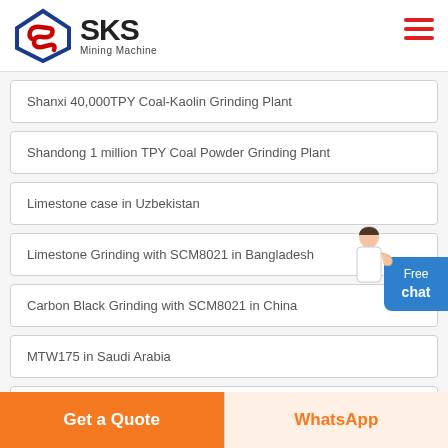SKS Mining Machine
Shanxi 40,000TPY Coal-Kaolin Grinding Plant
Shandong 1 million TPY Coal Powder Grinding Plant
Limestone case in Uzbekistan
Limestone Grinding with SCM8021 in Bangladesh
Carbon Black Grinding with SCM8021 in China
MTW175 in Saudi Arabia
Powder Grinding with SCM Ultrafine Mill
Get a Quote | WhatsApp